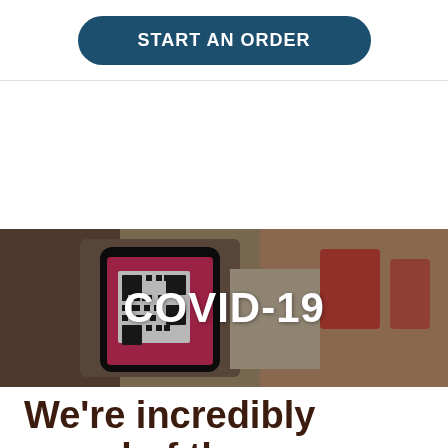START AN ORDER
[Figure (photo): Person holding a smartphone displaying a QR code on a pink/red background, in a restaurant or retail setting. Text overlay reads COVID-19 in bold white letters.]
We're incredibly proud of the way